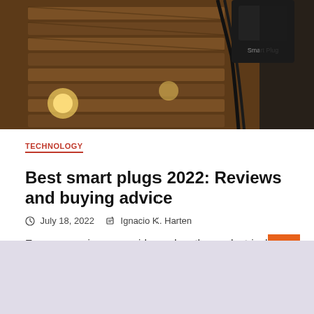[Figure (photo): Photo of smart plugs with cables plugged into an outlet on a wooden surface with string lights in background]
TECHNOLOGY
Best smart plugs 2022: Reviews and buying advice
July 18, 2022   Ignacio K. Harten
Every space in your residence has them: electrical power outlets, and they are about as dumb as technology can be....
[Figure (photo): Bottom card with a bottle image on a lavender background, with a '5 min read' badge]